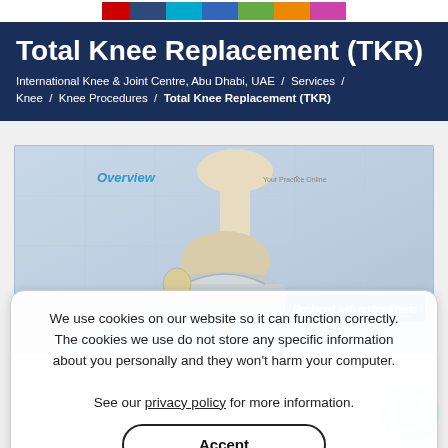[Figure (logo): Website logo bar with colored blocks: red, dark blue, cyan, blue, green, orange, pink]
Total Knee Replacement (TKR)
International Knee & Joint Centre, Abu Dhabi, UAE / Services / Knee / Knee Procedures / Total Knee Replacement (TKR)
[Figure (illustration): Medical illustration of knee joint replacement showing bone with artificial parts overlay and label 'Replaced with artificial parts', with 'Overview' text and 'Your Practice Online' watermark]
We use cookies on our website so it can function correctly. The cookies we use do not store any specific information about you personally and they won't harm your computer.
See our privacy policy for more information.
Accept